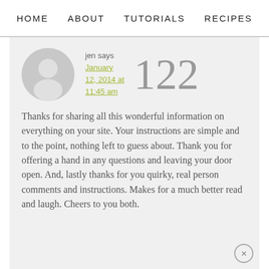HOME   ABOUT   TUTORIALS   RECIPES
jen says
January 12, 2014 at 11:45 am
122
Thanks for sharing all this wonderful information on everything on your site. Your instructions are simple and to the point, nothing left to guess about. Thank you for offering a hand in any questions and leaving your door open. And, lastly thanks for you quirky, real person comments and instructions. Makes for a much better read and laugh. Cheers to you both.